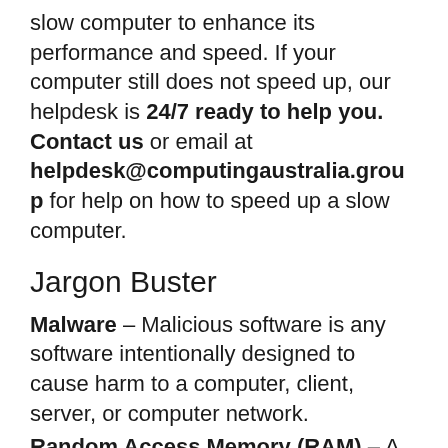slow computer to enhance its performance and speed. If your computer still does not speed up, our helpdesk is 24/7 ready to help you. Contact us or email at helpdesk@computingaustralia.group for help on how to speed up a slow computer.
Jargon Buster
Malware – Malicious software is any software intentionally designed to cause harm to a computer, client, server, or computer network.
Random Access Memory (RAM) – A form of computer memory that temporarily stores all information a device needs for the present and future.